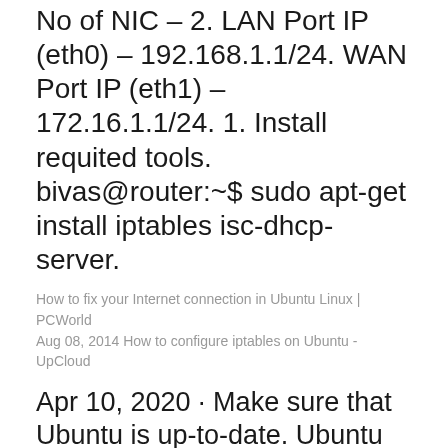No of NIC – 2. LAN Port IP (eth0) – 192.168.1.1/24. WAN Port IP (eth1) – 172.16.1.1/24. 1. Install requited tools. bivas@router:~$ sudo apt-get install iptables isc-dhcp-server.
How to fix your Internet connection in Ubuntu Linux | PCWorld
Aug 08, 2014 How to configure iptables on Ubuntu - UpCloud
Apr 10, 2020 · Make sure that Ubuntu is up-to-date. Ubuntu versions 17.10 and up have vastly different file paths than previous versions, so you'll need to upgrade to the latest version of Ubuntu if you haven't already done so: Open Terminal; Type in sudo